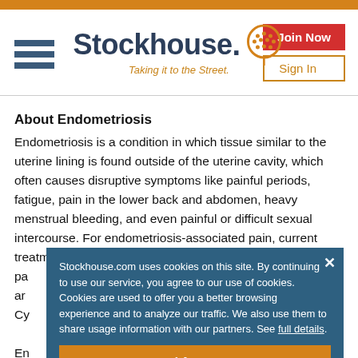Stockhouse. Taking it to the Street.
About Endometriosis
Endometriosis is a condition in which tissue similar to the uterine lining is found outside of the uterine cavity, which often causes disruptive symptoms like painful periods, fatigue, pain in the lower back and abdomen, heavy menstrual bleeding, and even painful or difficult sexual intercourse. For endometriosis-associated pain, current treatment options include prescription and over-the-counter pa... ar... Cy... En... wo... 20... In...
Stockhouse.com uses cookies on this site. By continuing to use our service, you agree to our use of cookies. Cookies are used to offer you a better browsing experience and to analyze our traffic. We also use them to share usage information with our partners. See full details.